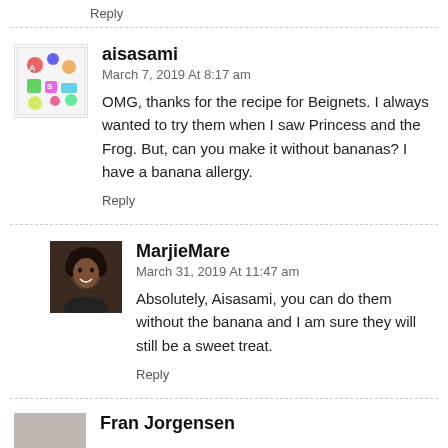Reply
aisasami
March 7, 2019 At 8:17 am
OMG, thanks for the recipe for Beignets. I always wanted to try them when I saw Princess and the Frog. But, can you make it without bananas? I have a banana allergy.
Reply
MarjieMare
March 31, 2019 At 11:47 am
Absolutely, Aisasami, you can do them without the banana and I am sure they will still be a sweet treat.
Reply
Fran Jorgensen